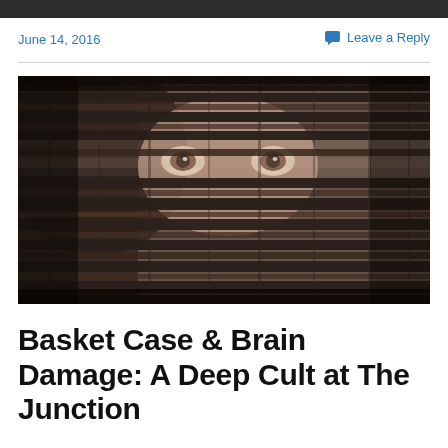June 14, 2016
Leave a Reply
[Figure (photo): Black and white close-up photograph of a person's eyes peering through gaps in a wicker basket or woven material, creating a tense, horror movie aesthetic.]
Basket Case & Brain Damage: A Deep Cult at The Junction